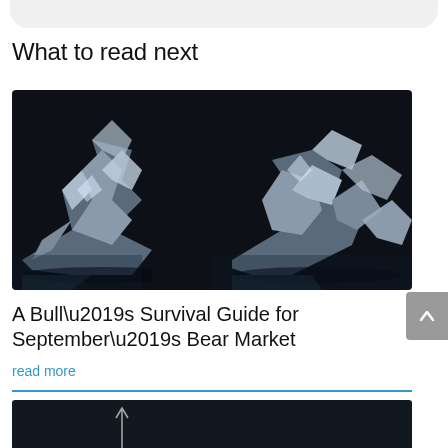What to read next
[Figure (photo): Two abstract metallic/foil sculptural bear-like shapes facing each other against a dark background, representing a bear market concept]
A Bull’s Survival Guide for September’s Bear Market
read more
[Figure (photo): Dark image partially visible at bottom of page, appears to be another article thumbnail with an upward arrow]